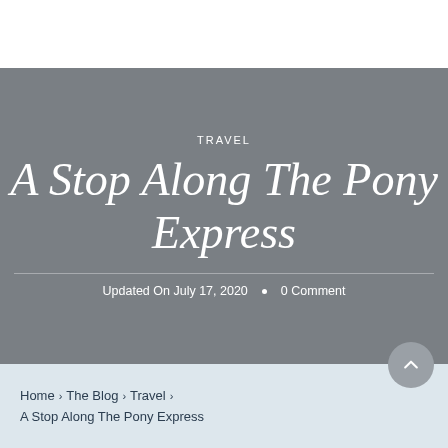TRAVEL
A Stop Along The Pony Express
Updated On July 17, 2020  •  0 Comment
Home › The Blog › Travel › A Stop Along The Pony Express